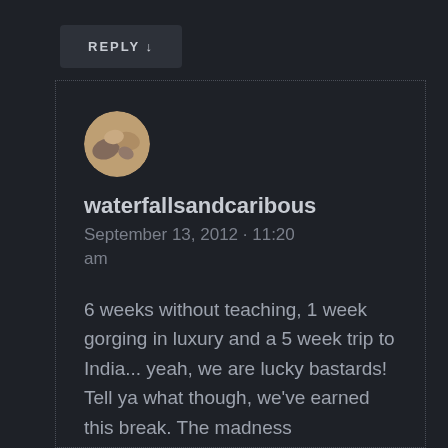REPLY ↓
waterfallsandcaribous
September 13, 2012 · 11:20 am

6 weeks without teaching, 1 week gorging in luxury and a 5 week trip to India... yeah, we are lucky bastards! Tell ya what though, we've earned this break. The madness